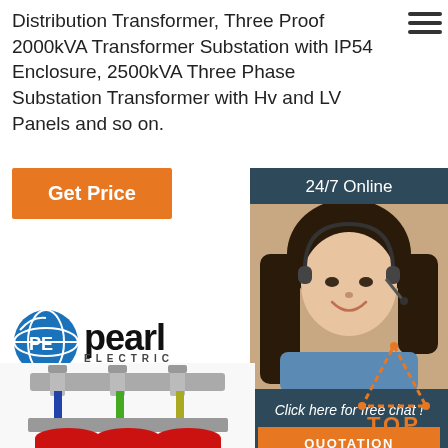Distribution Transformer, Three Proof 2000kVA Transformer Substation with IP54 Enclosure, 2500kVA Three Phase Substation Transformer with Hv and LV Panels and so on.
[Figure (screenshot): Orange 'Get Price' button on the left and a dark teal '24/7 Online' chat box on the right with a customer service agent photo, 'Click here for free chat!' text, and an orange 'QUOTATION' button]
[Figure (logo): Pearl Electric logo with blue globe icon and bold 'pearl ELECTRIC' text]
[Figure (photo): Three-phase dry-type distribution transformer with red cylindrical windings and metal frame, Pearl Electric branded, with en.pearlelectric.com watermark]
[Figure (other): Orange dotted triangle 'TOP' scroll-to-top button in bottom right corner]